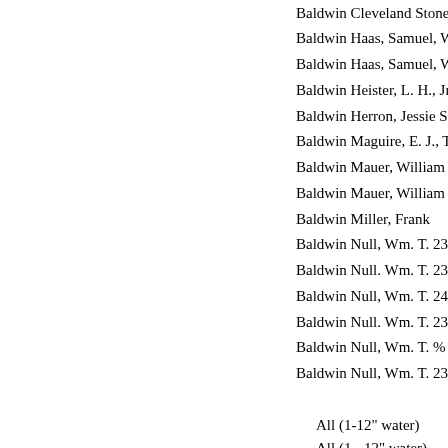Baldwin Cleveland Stone Co.
Baldwin Haas, Samuel, Wm. T
Baldwin Haas, Samuel, Wm. T
Baldwin Heister, L. H., Jr.
Baldwin Herron, Jessie S.
Baldwin Maguire, E. J., Tr.
Baldwin Mauer, William F.
Baldwin Mauer, William F.
Baldwin Miller, Frank
Baldwin Null, Wm. T. 23 & C
Baldwin Null. Wm. T. 23 & C
Baldwin Null, Wm. T. 24 & C
Baldwin Null. Wm. T. 23 & C
Baldwin Null, Wm. T. % & Ch
Baldwin Null, Wm. T. 23 & C
All (1-12" water)
All (1 - 12" water)